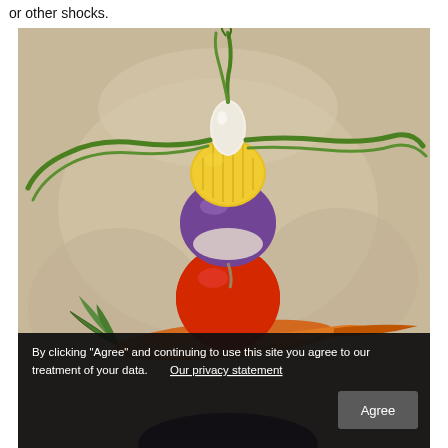or other shocks.
[Figure (illustration): A whimsical illustration of stacked vegetables forming a humanoid figure: a green onion/scallion on top acting as head and arms, a corn cob below it, then a purple turnip/beet, then a red tomato, with a carrot balanced horizontally across, all on a beige/tan painterly background.]
By clicking “Agree” and continuing to use this site you agree to our treatment of your data. Our privacy statement
Agree